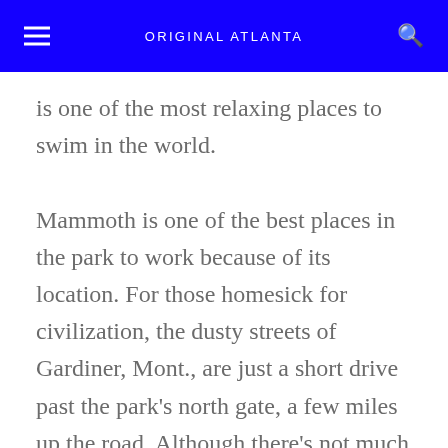ORIGINAL ATLANTA
is one of the most relaxing places to swim in the world.
Mammoth is one of the best places in the park to work because of its location. For those homesick for civilization, the dusty streets of Gardiner, Mont., are just a short drive past the park's north gate, a few miles up the road. Although there's not much there, we college kids would make weekly pilgrimages to bars like the Rusty